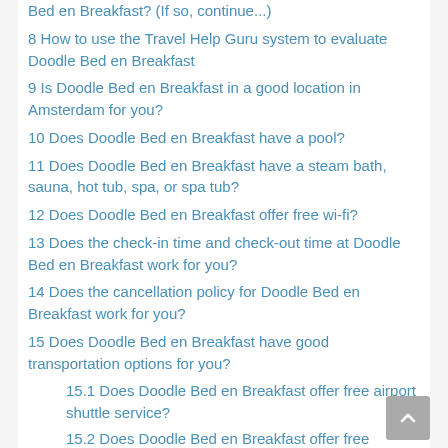Bed en Breakfast? (If so, continue...)
8 How to use the Travel Help Guru system to evaluate Doodle Bed en Breakfast
9 Is Doodle Bed en Breakfast in a good location in Amsterdam for you?
10 Does Doodle Bed en Breakfast have a pool?
11 Does Doodle Bed en Breakfast have a steam bath, sauna, hot tub, spa, or spa tub?
12 Does Doodle Bed en Breakfast offer free wi-fi?
13 Does the check-in time and check-out time at Doodle Bed en Breakfast work for you?
14 Does the cancellation policy for Doodle Bed en Breakfast work for you?
15 Does Doodle Bed en Breakfast have good transportation options for you?
15.1 Does Doodle Bed en Breakfast offer free airport shuttle service?
15.2 Does Doodle Bed en Breakfast offer free parking?
15.3 Is the public transportation near Doodle Bed en